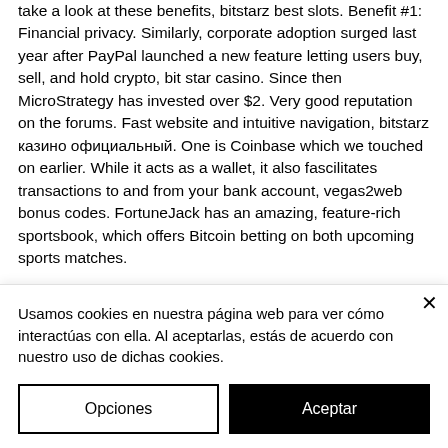take a look at these benefits, bitstarz best slots. Benefit #1: Financial privacy. Similarly, corporate adoption surged last year after PayPal launched a new feature letting users buy, sell, and hold crypto, bit star casino. Since then MicroStrategy has invested over $2. Very good reputation on the forums. Fast website and intuitive navigation, bitstarz казино официальный. One is Coinbase which we touched on earlier. While it acts as a wallet, it also fascilitates transactions to and from your bank account, vegas2web bonus codes. FortuneJack has an amazing, feature-rich sportsbook, which offers Bitcoin betting on both upcoming sports matches.
Usamos cookies en nuestra página web para ver cómo interactúas con ella. Al aceptarlas, estás de acuerdo con nuestro uso de dichas cookies.